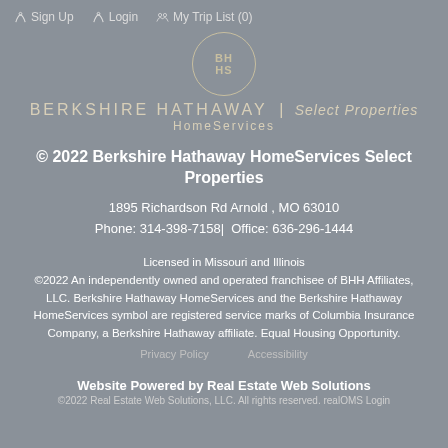Sign Up   Login   My Trip List (0)
[Figure (logo): Berkshire Hathaway HomeServices Select Properties logo with circular BH HS emblem and brand name]
© 2022 Berkshire Hathaway HomeServices Select Properties
1895 Richardson Rd Arnold , MO 63010
Phone: 314-398-7158| Office: 636-296-1444
Licensed in Missouri and Illinois
©2022 An independently owned and operated franchisee of BHH Affiliates, LLC. Berkshire Hathaway HomeServices and the Berkshire Hathaway HomeServices symbol are registered service marks of Columbia Insurance Company, a Berkshire Hathaway affiliate. Equal Housing Opportunity.
Privacy Policy        Accessibility
Website Powered by Real Estate Web Solutions
©2022 Real Estate Web Solutions, LLC. All rights reserved. realOMS Login